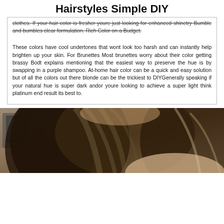Hairstyles Simple DIY
clothes. If your hair color is fresher youre just looking for enhanced shinetry Bumble and bumbles clear formulation. Rich Color on a Budget.
These colors have cool undertones that wont look too harsh and can instantly help brighten up your skin. For Brunettes Most brunettes worry about their color getting brassy Bodt explains mentioning that the easiest way to preserve the hue is by swapping in a purple shampoo. At-home hair color can be a quick and easy solution but of all the colors out there blonde can be the trickiest to DIYGenerally speaking if your natural hue is super dark andor youre looking to achieve a super light think platinum end result its best to.
[Figure (photo): Photo of a person with long brunette hair with light blonde highlights, viewed from behind, in an indoor setting.]